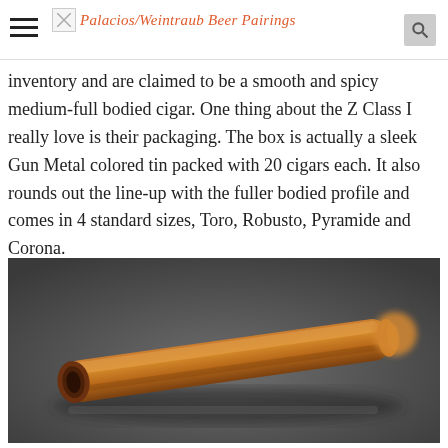Palacios/Weintraub Beer Pairings
inventory and are claimed to be a smooth and spicy medium-full bodied cigar. One thing about the Z Class I really love is their packaging. The box is actually a sleek Gun Metal colored tin packed with 20 cigars each. It also rounds out the line-up with the fuller bodied profile and comes in 4 standard sizes, Toro, Robusto, Pyramide and Corona.
[Figure (photo): Close-up photograph of a brown cigar lying diagonally on a dark gray background, showing the cut end of the cigar on the left and tapered head on the right.]